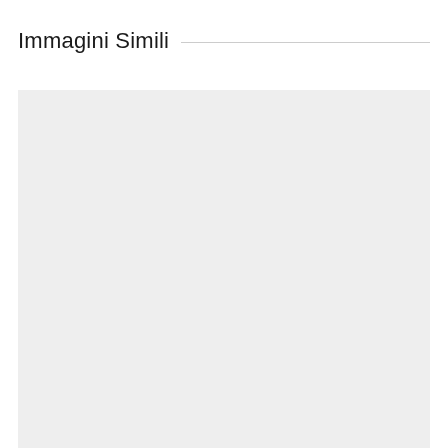Immagini Simili
[Figure (photo): Large light gray rectangular placeholder area for similar images]